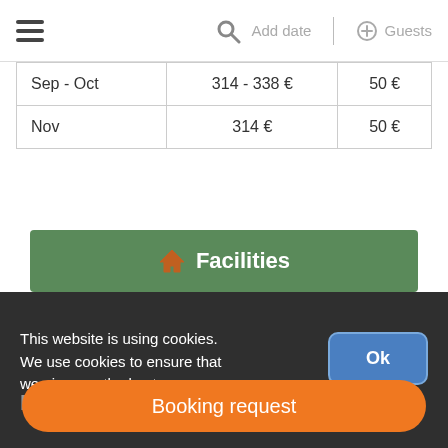☰  🔍 Add date | ⊕ Guests
| Sep - Oct | 314 - 338 € | 50 € |
| Nov | 314 € | 50 € |
🏠 Facilities
This website is using cookies. We use cookies to ensure that we give you the best
Ok
Booking request